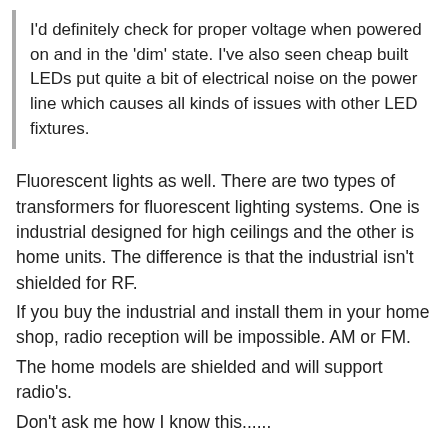I'd definitely check for proper voltage when powered on and in the 'dim' state. I've also seen cheap built LEDs put quite a bit of electrical noise on the power line which causes all kinds of issues with other LED fixtures.
Fluorescent lights as well. There are two types of transformers for fluorescent lighting systems. One is industrial designed for high ceilings and the other is home units. The difference is that the industrial isn't shielded for RF.
If you buy the industrial and install them in your home shop, radio reception will be impossible. AM or FM.
The home models are shielded and will support radio's.
Don't ask me how I know this......
Reply
May 21, 2021
tyromeo55
Sharpshooter  Supporting Member